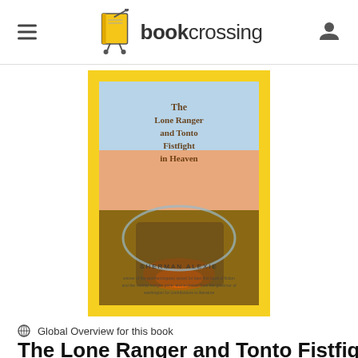bookcrossing
[Figure (photo): Book cover of 'The Lone Ranger and Tonto Fistfight in Heaven' by Sherman Alexie. Yellow bordered cover with painted/illustrated scene showing figures and fire, with the title written in hand-lettered style text.]
Global Overview for this book
The Lone Ranger and Tonto Fistfight